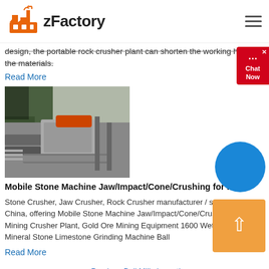zFactory
design, the portable rock crusher plant can shorten the working hours of the materials.
Read More
[Figure (photo): Industrial mobile stone crushing machine equipment with conveyor belts and mechanical components]
Mobile Stone Machine Jaw/Impact/Cone/Crushing for Rock
Stone Crusher, Jaw Crusher, Rock Crusher manufacturer / supplier in China, offering Mobile Stone Machine Jaw/Impact/Cone/Crushing for Rock Mining Crusher Plant, Gold Ore Mining Equipment 1600 Wet Pan Mill, Mineral Stone Limestone Grinding Machine Ball
Read More
<< Previous:Ball Mills Importing